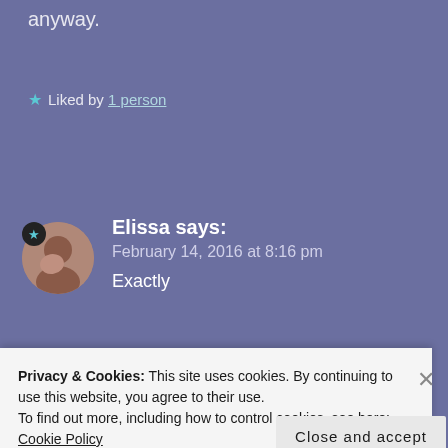anyway.
★ Liked by 1 person
Elissa says:
February 14, 2016 at 8:16 pm
Exactly
★ Like
[Figure (screenshot): Dark banner with sensei logo and text]
Privacy & Cookies: This site uses cookies. By continuing to use this website, you agree to their use.
To find out more, including how to control cookies, see here: Cookie Policy
Close and accept